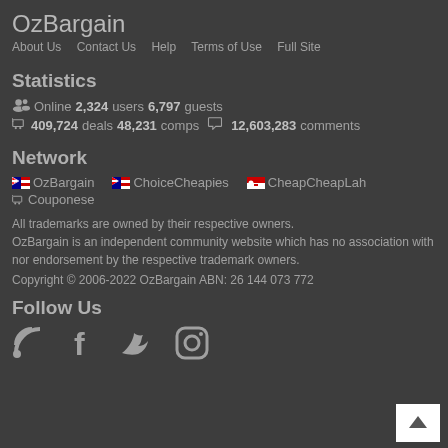OzBargain
About Us   Contact Us   Help   Terms of Use   Full Site
Statistics
Online 2,324 users 6,797 guests
409,724 deals 48,231 comps   12,603,283 comments
Network
OzBargain   ChoiceCheapies   CheapCheapLah
Couponese
All trademarks are owned by their respective owners. OzBargain is an independent community website which has no association with nor endorsement by the respective trademark owners.
Copyright © 2006-2022 OzBargain ABN: 26 144 073 772
Follow Us
[Figure (infographic): Social media icons: RSS feed, Facebook, Twitter, Instagram]
[Figure (other): Back to top button with upward arrow]